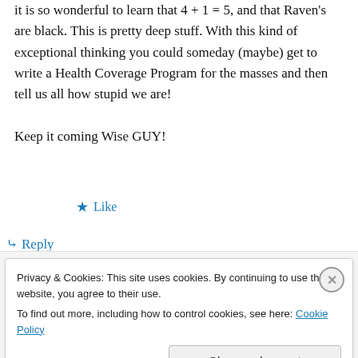it is so wonderful to learn that 4 + 1 = 5, and that Raven's are black. This is pretty deep stuff. With this kind of exceptional thinking you could someday (maybe) get to write a Health Coverage Program for the masses and then tell us all how stupid we are!
Keep it coming Wise GUY!
★ Like
↳ Reply
Privacy & Cookies: This site uses cookies. By continuing to use this website, you agree to their use.
To find out more, including how to control cookies, see here: Cookie Policy
Close and accept